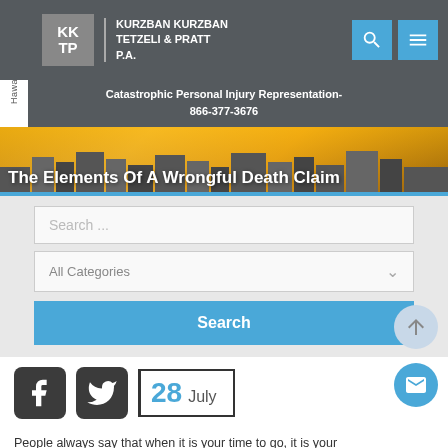Kurzban Kurzban Tetzeli & Pratt P.A. | Catastrophic Personal Injury Representation- 866-377-3676
[Figure (screenshot): Law firm website hero section with city skyline at sunset]
The Elements Of A Wrongful Death Claim
Search ...
All Categories
Search
[Figure (infographic): Social media icons (Facebook, Twitter) and date widget showing 28 July]
People always say that when it is your time to go, it is your